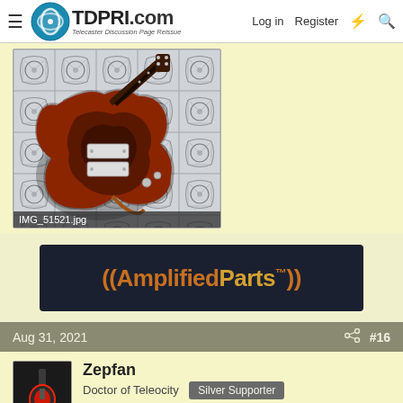TDPRI.com — Telecaster Discussion Page Reissue | Log in | Register
[Figure (photo): Electric guitar (sunburst finish, offset body style) lying on a decorative tile floor with white and grey floral/geometric pattern. Image filename: IMG_51521.jpg]
[Figure (other): AmplifiedParts advertisement banner with dark background and orange parenthesis-style logo text]
Aug 31, 2021  #16
Zepfan
Doctor of Teleocity  Silver Supporter